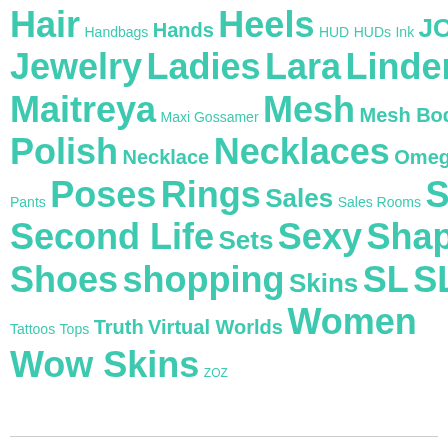Hair Handbags Hands Heels HUD HUDs Ink JCNY Jewelry Ladies Lara Linden Labs Maitreya Maxi Gossamer Mesh Mesh Body Nail Polish Necklace Necklaces Omega Outfits Pants Poses Rings Sales Sales Rooms Sandals Second Life Sets Sexy Shapes Shoes shopping Skins SL SLink SWANK Tattoos Tops Truth Virtual Worlds Women Wow Skins ZOZ